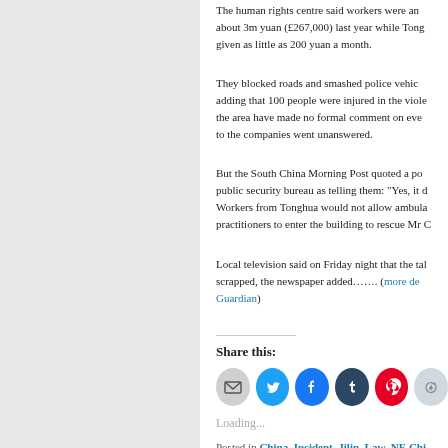The human rights centre said workers were owed about 3m yuan (£267,000) last year while Tonghua given as little as 200 yuan a month.
They blocked roads and smashed police vehicles, adding that 100 people were injured in the violence. the area have made no formal comment on events, to the companies went unanswered.
But the South China Morning Post quoted a police public security bureau as telling them: "Yes, it d... Workers from Tonghua would not allow ambulances practitioners to enter the building to rescue Mr C...
Local television said on Friday night that the takeover would be scrapped, the newspaper added……. (more details at the Guardian)
Share this:
[Figure (infographic): Social share buttons: email, Twitter, Facebook, Tumblr, Pinterest, Reddit, more]
Loading...
Posted in China, Incident, Jilin, Law, NE Chi...